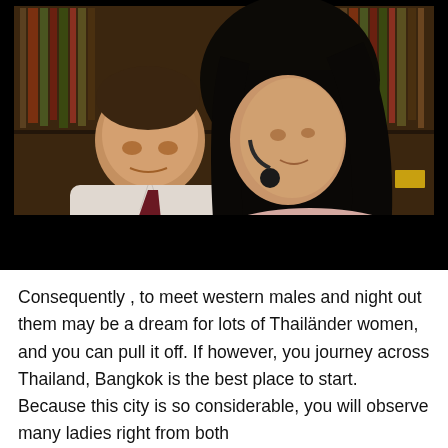[Figure (photo): A photo of a man in a white shirt and dark tie looking at a woman with long dark hair. Behind them is a bookshelf. The bottom portion of the photo is covered by a dark black bar.]
Consequently , to meet western males and night out them may be a dream for lots of Thailänder women, and you can pull it off. If however, you journey across Thailand, Bangkok is the best place to start. Because this city is so considerable, you will observe many ladies right from both